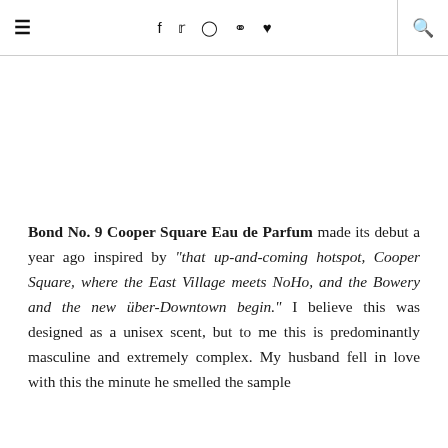≡  f  𝕥  ⊙  𝗽  ♥  🔍
Bond No. 9 Cooper Square Eau de Parfum made its debut a year ago inspired by "that up-and-coming hotspot, Cooper Square, where the East Village meets NoHo, and the Bowery and the new über-Downtown begin." I believe this was designed as a unisex scent, but to me this is predominantly masculine and extremely complex. My husband fell in love with this the minute he smelled the sample